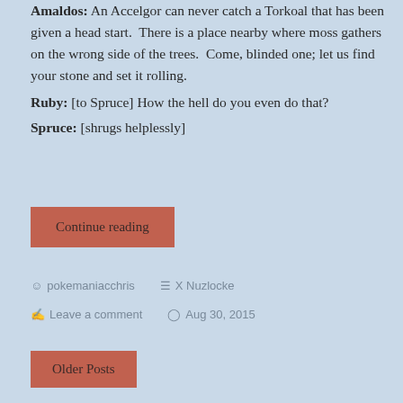Amaldos: An Accelgor can never catch a Torkoal that has been given a head start.  There is a place nearby where moss gathers on the wrong side of the trees.  Come, blinded one; let us find your stone and set it rolling.
Ruby: [to Spruce] How the hell do you even do that?
Spruce: [shrugs helplessly]
Continue reading
pokemaniacchris   X Nuzlocke
Leave a comment   Aug 30, 2015
Older Posts